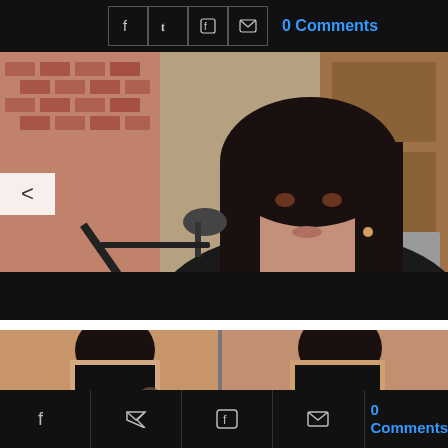[Figure (screenshot): Social share icons (Facebook, Twitter, Flipboard, Email) in bordered boxes on dark background, with '0 Comments' in blue text to the right]
[Figure (photo): Woman with dark hair in a black blazer speaking into a microphone, appearing to testify in a court or hearing room setting, with brick wall and wood paneling visible in background. A left navigation arrow overlay is visible.]
[Figure (photo): Two side-by-side photos showing the back of a woman with dark hair and tattoos on her shoulder/upper back, wearing a black top.]
[Figure (screenshot): Footer social share icons (Facebook, Twitter, Flipboard, Email) on dark background, with '0 Comments' in blue text on the right side]